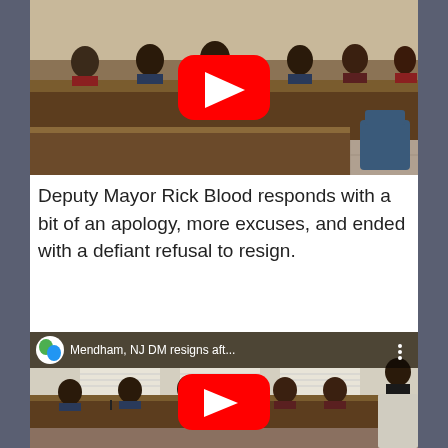[Figure (screenshot): YouTube video thumbnail showing a town council meeting with officials seated behind a wooden dais. A large red YouTube play button is overlaid in the center.]
Deputy Mayor Rick Blood responds with a bit of an apology, more excuses, and ended with a defiant refusal to resign.
[Figure (screenshot): YouTube video embed showing a council meeting room. Top info bar reads 'Mendham, NJ DM resigns aft...' with a channel logo and three-dot menu. A red YouTube play button is overlaid in the center over the meeting scene.]